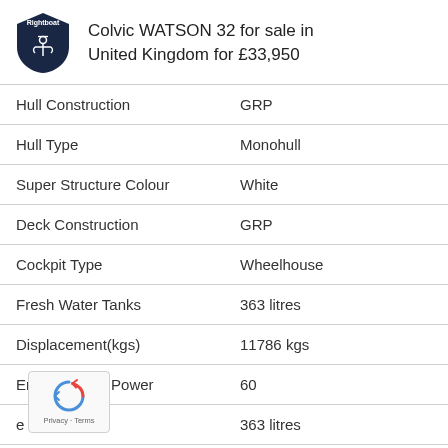Colvic WATSON 32 for sale in United Kingdom for £33,950
| Property | Value |
| --- | --- |
| Hull Construction | GRP |
| Hull Type | Monohull |
| Super Structure Colour | White |
| Deck Construction | GRP |
| Cockpit Type | Wheelhouse |
| Fresh Water Tanks | 363 litres |
| Displacement(kgs) | 11786 kgs |
| Engine Horse Power | 60 |
| e Tankage | 363 litres |
| Navigation Lights | Yes |